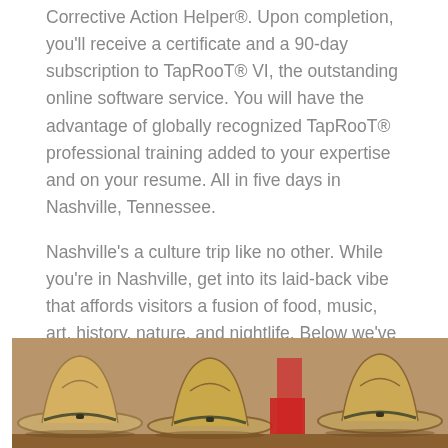Corrective Action Helper®. Upon completion, you'll receive a certificate and a 90-day subscription to TapRooT® VI, the outstanding online software service. You will have the advantage of globally recognized TapRooT® professional training added to your expertise and on your resume. All in five days in Nashville, Tennessee.
Nashville's a culture trip like no other. While you're in Nashville, get into its laid-back vibe that affords visitors a fusion of food, music, art, history, nature, and nightlife. Below we've created highlights of the incredible Tennessee capital city.
[Figure (photo): Photo of multiple cowboy hats arranged in a row, viewed from the front/brim angle, in warm tan/brown tones]